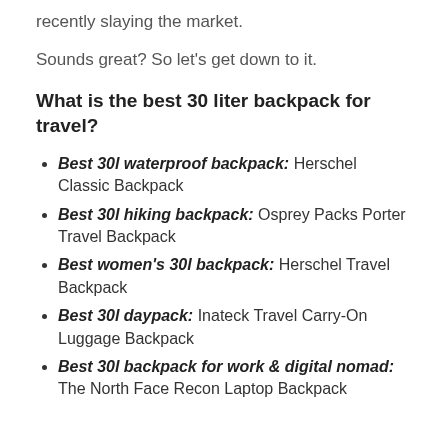recently slaying the market.
Sounds great? So let's get down to it.
What is the best 30 liter backpack for travel?
Best 30l waterproof backpack: Herschel Classic Backpack
Best 30l hiking backpack: Osprey Packs Porter Travel Backpack
Best women's 30l backpack: Herschel Travel Backpack
Best 30l daypack: Inateck Travel Carry-On Luggage Backpack
Best 30l backpack for work & digital nomad: The North Face Recon Laptop Backpack